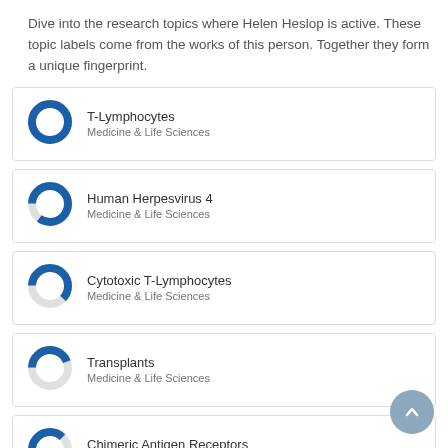Dive into the research topics where Helen Heslop is active. These topic labels come from the works of this person. Together they form a unique fingerprint.
T-Lymphocytes — Medicine & Life Sciences
Human Herpesvirus 4 — Medicine & Life Sciences
Cytotoxic T-Lymphocytes — Medicine & Life Sciences
Transplants — Medicine & Life Sciences
Chimeric Antigen Receptors — Medicine & Life Sciences